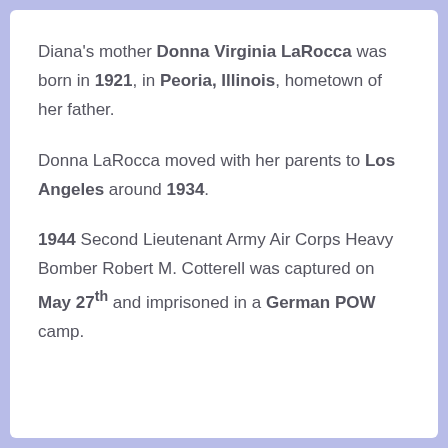Diana's mother Donna Virginia LaRocca was born in 1921, in Peoria, Illinois, hometown of her father.
Donna LaRocca moved with her parents to Los Angeles around 1934.
1944 Second Lieutenant Army Air Corps Heavy Bomber Robert M. Cotterell was captured on May 27th and imprisoned in a German POW camp.